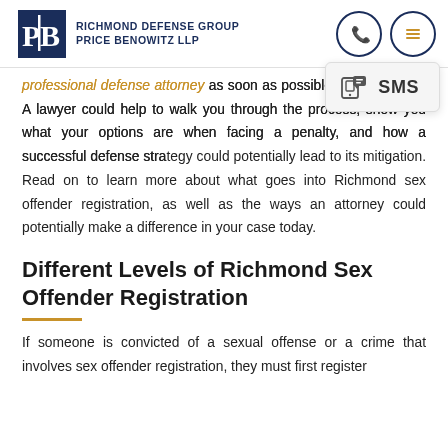Richmond Defense Group | Price Benowitz LLP
professional defense attorney as soon as possible for assistance. A lawyer could help to walk you through the process, show you what your options are when facing a penalty, and how a successful defense strategy could potentially lead to its mitigation. Read on to learn more about what goes into Richmond sex offender registration, as well as the ways an attorney could potentially make a difference in your case today.
Different Levels of Richmond Sex Offender Registration
If someone is convicted of a sexual offense or a crime that involves sex offender registration, they must first register